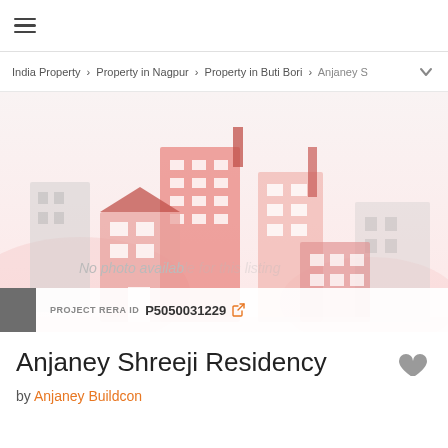≡
India Property > Property in Nagpur > Property in Buti Bori > Anjaney S
[Figure (illustration): Real estate placeholder illustration showing stylized pink/salmon colored buildings and cityscape against a light pinkish-white background with text 'No photo available' overlaid. PROJECT RERA ID: P5050031229 shown in a white bar at the bottom.]
Anjaney Shreeji Residency
by Anjaney Buildcon